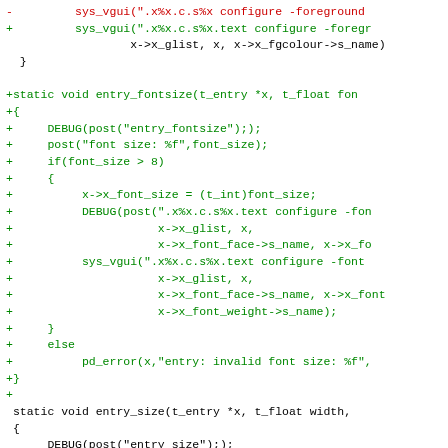Code diff showing entry_fontsize and entry_size functions in C, with added lines in green, removed lines in red, and hunk header in blue.